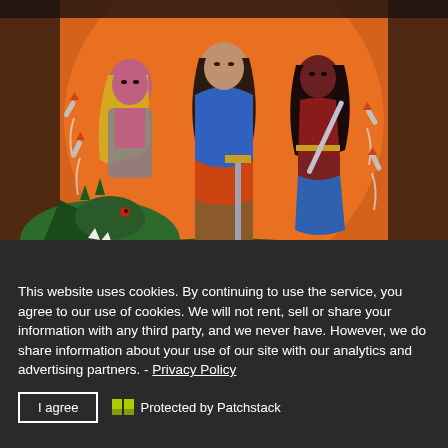[Figure (illustration): Fantasy illustration showing three warrior characters standing heroically. Center: a muscular man with long dark hair wearing a blue tunic and brown pants holding a sword. Left: a pink-skinned woman with blonde hair in a gray outfit. Right: a dark-skinned woman in red/gold belly dancer attire holding a sword. A green dragon is visible at the bottom left. Background shows an orange sky with rockets or missiles flying.]
This website uses cookies. By continuing to use the service, you agree to our use of cookies. We will not rent, sell or share your information with any third party, and we never have. However, we do share information about your use of our site with our analytics and advertising partners. - Privacy Policy
I agree
Protected by Patchstack